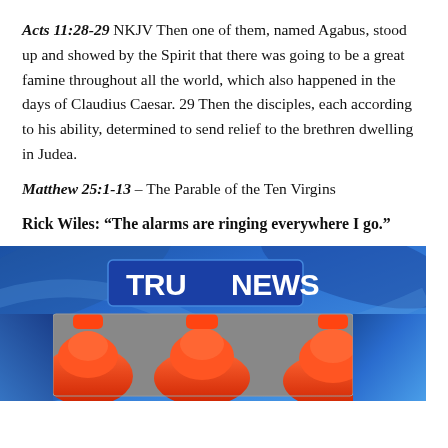Acts 11:28-29 NKJV Then one of them, named Agabus, stood up and showed by the Spirit that there was going to be a great famine throughout all the world, which also happened in the days of Claudius Caesar. 29 Then the disciples, each according to his ability, determined to send relief to the brethren dwelling in Judea.
Matthew 25:1-13 – The Parable of the Ten Virgins
Rick Wiles: “The alarms are ringing everywhere I go.”
[Figure (photo): TruNews broadcast screen showing the TruNews logo in blue and white on a blue swirling background, with a lower portion showing orange/red alarm bells in close-up.]